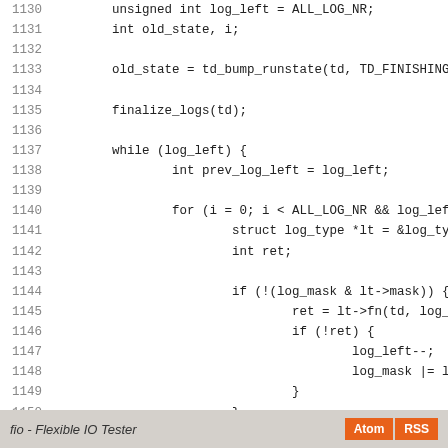[Figure (screenshot): Source code listing lines 1130-1158 of a C file, showing a function that finalize logs and restores run state, from the fio (Flexible IO Tester) project.]
fio - Flexible IO Tester  Atom  RSS